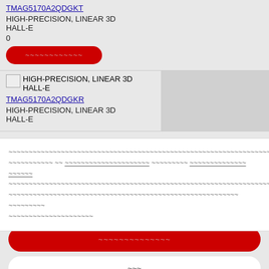TMAG5170A2QDGKT
HIGH-PRECISION, LINEAR 3D HALL-E
0
[Figure (screenshot): Red rounded button with redacted/squiggle text label]
[Figure (photo): Small product image thumbnail placeholder]
HIGH-PRECISION, LINEAR 3D HALL-E
TMAG5170A2QDGKR
HIGH-PRECISION, LINEAR 3D HALL-E
Redacted/squiggle body text paragraph
[Figure (screenshot): Large red rounded button with squiggle text]
[Figure (screenshot): White rounded button with squiggle text]
[Figure (screenshot): Blue underlined link with squiggle text]